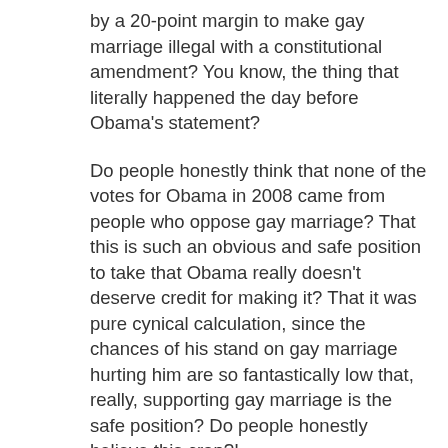by a 20-point margin to make gay marriage illegal with a constitutional amendment? You know, the thing that literally happened the day before Obama's statement?
Do people honestly think that none of the votes for Obama in 2008 came from people who oppose gay marriage? That this is such an obvious and safe position to take that Obama really doesn't deserve credit for making it? That it was pure cynical calculation, since the chances of his stand on gay marriage hurting him are so fantastically low that, really, supporting gay marriage is the safe position? Do people honestly believe this crap?!
Also, anyone who acts disappointed when the President turns out to be a politician rather than the human avatar of all things right and just is way too naive to be a political commentator. Yes, the President schemes and calculates, because if he didn't he wouldn't be the fucking President in the